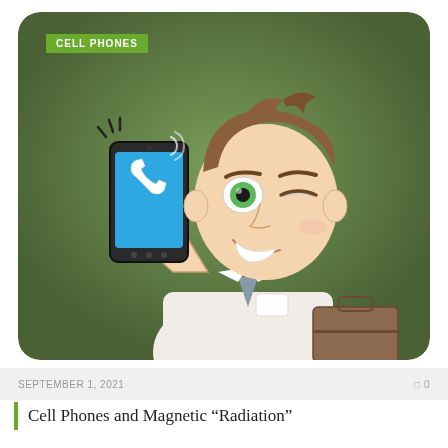[Figure (illustration): Cartoon illustration of a smiling businessman with brown hair, winking one eye with a green iris, holding up a black smartphone displaying a phone call icon on a blue screen, with signal lines. He wears a white shirt with a name tag and holds a brown briefcase. Background is a rounded rectangle in muted olive/green gradient.]
CELL PHONES
SEPTEMBER 1, 2021
0
Cell Phones and Magnetic “Radiation”